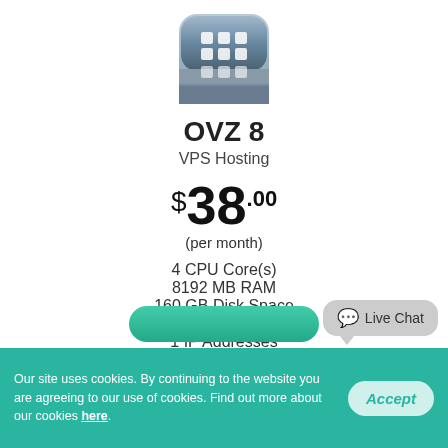[Figure (logo): App icon with blue/grey gradient background and white grid/tile squares, rounded corners]
OVZ 8
VPS Hosting
$38.00
(per month)
4 CPU Core(s)
8192 MB RAM
160 GB Disk Space
Affordable Domains
1 IP Addresses
Full plan details
Live Chat
Our site uses cookies. By continuing to the website you are agreeing to our use of cookies. Find out more about our cookies here.